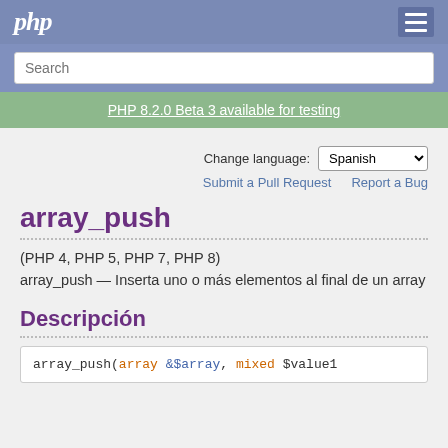php
Search
PHP 8.2.0 Beta 3 available for testing
Change language: Spanish
Submit a Pull Request    Report a Bug
array_push
(PHP 4, PHP 5, PHP 7, PHP 8)
array_push — Inserta uno o más elementos al final de un array
Descripción
array_push(array &$array, mixed $value1